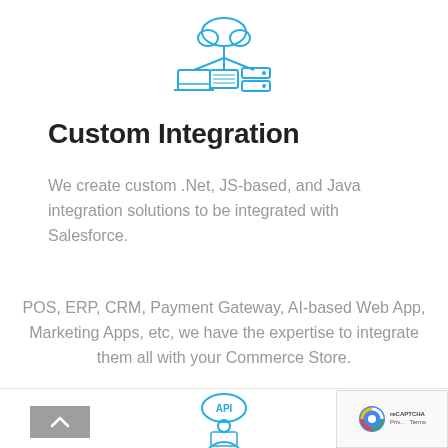[Figure (illustration): Blue outline icon of a network/cloud integration diagram with a cloud in the center, laptops and servers connected below]
Custom Integration
We create custom .Net, JS-based, and Java integration solutions to be integrated with Salesforce.
POS, ERP, CRM, Payment Gateway, AI-based Web App, Marketing Apps, etc, we have the expertise to integrate them all with your Commerce Store.
[Figure (illustration): Blue outline icon of a person working at a computer with 'API' label above — partial, bottom of page]
[Figure (logo): reCAPTCHA badge in bottom right corner]